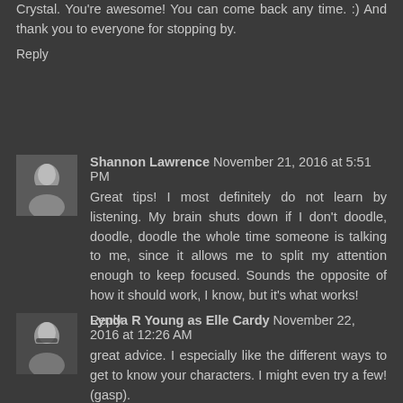Crystal. You're awesome! You can come back any time. :) And thank you to everyone for stopping by.
Reply
[Figure (photo): Avatar photo of Shannon Lawrence, a woman]
Shannon Lawrence November 21, 2016 at 5:51 PM
Great tips! I most definitely do not learn by listening. My brain shuts down if I don't doodle, doodle, doodle the whole time someone is talking to me, since it allows me to split my attention enough to keep focused. Sounds the opposite of how it should work, I know, but it's what works!
Reply
[Figure (photo): Avatar photo of Lynda R Young as Elle Cardy, a woman with glasses]
Lynda R Young as Elle Cardy November 22, 2016 at 12:26 AM
great advice. I especially like the different ways to get to know your characters. I might even try a few! (gasp).